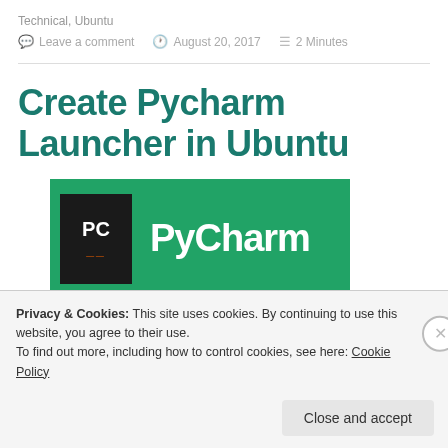Technical, Ubuntu
Leave a comment   August 20, 2017   2 Minutes
Create Pycharm Launcher in Ubuntu
[Figure (logo): PyCharm logo: black square with PC text on green background with PyCharm brand name in white]
Privacy & Cookies: This site uses cookies. By continuing to use this website, you agree to their use.
To find out more, including how to control cookies, see here: Cookie Policy